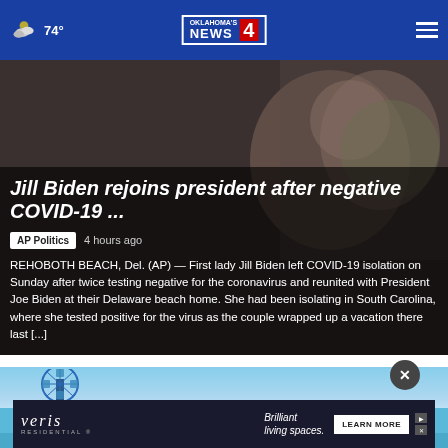74° | Oklahoma's News 4
Jill Biden rejoins president after negative COVID-19 ...
AP Politics   4 hours ago
REHOBOTH BEACH, Del. (AP) — First lady Jill Biden left COVID-19 isolation on Sunday after twice testing negative for the coronavirus and reunited with President Joe Biden at their Delaware beach home. She had been isolating in South Carolina, where she tested positive for the virus as the couple wrapped up a vacation there last [...]
[Figure (photo): Photo showing a ferris wheel or amusement ride against a blue sky, with water park elements in the foreground]
[Figure (infographic): Advertisement banner for Veris Residential: 'Brilliant living spaces.' with a LEARN MORE button]